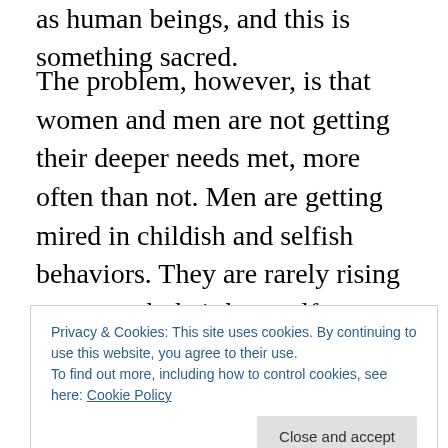as human beings, and this is something sacred.
The problem, however, is that women and men are not getting their deeper needs met, more often than not. Men are getting mired in childish and selfish behaviors. They are rarely rising up to reach their best self, even though unconsciously, they are looking for the woman who will help them reach those heights. That feeling of being a man comes from a man integrating his inner feminine. His
Privacy & Cookies: This site uses cookies. By continuing to use this website, you agree to their use.
To find out more, including how to control cookies, see here: Cookie Policy
soul. She is precious and a shining light in his life. By